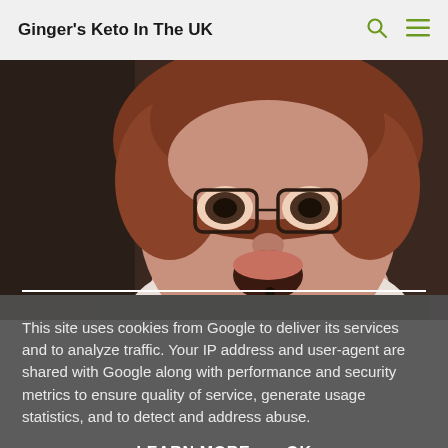Ginger's Keto In The UK
[Figure (photo): Photo of a woman with curly reddish-brown hair and round glasses, mouth open, wearing a white top, with a dark background. A dark book or object is visible in front of her.]
This site uses cookies from Google to deliver its services and to analyze traffic. Your IP address and user-agent are shared with Google along with performance and security metrics to ensure quality of service, generate usage statistics, and to detect and address abuse.
LEARN MORE    OK